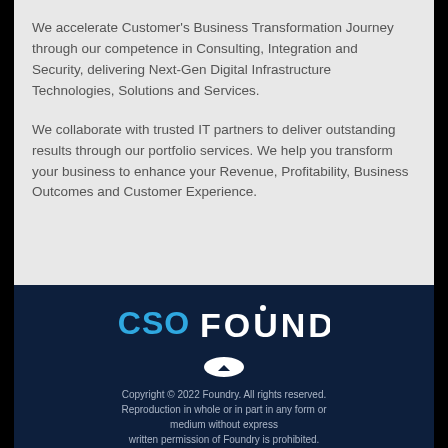We accelerate Customer's Business Transformation Journey through our competence in Consulting, Integration and Security, delivering Next-Gen Digital Infrastructure Technologies, Solutions and Services.
We collaborate with trusted IT partners to deliver outstanding results through our portfolio services. We help you transform your business to enhance your Revenue, Profitability, Business Outcomes and Customer Experience.
[Figure (logo): CSO Foundry logo — 'CSO' in blue and 'FOUNDRY' in white on dark navy background]
Copyright © 2022 Foundry. All rights reserved. Reproduction in whole or in part in any form or medium without express written permission of Foundry is prohibited.
*Privacy Policy Foundry